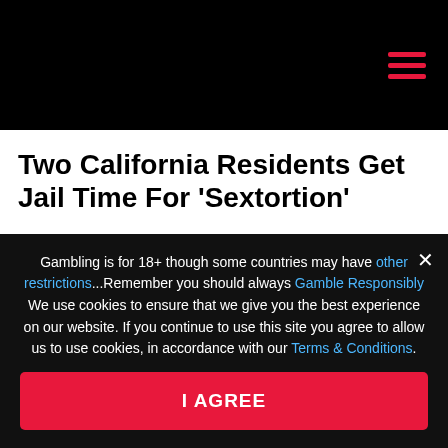Navigation menu (hamburger icon)
Two California Residents Get Jail Time For 'Sextortion'
Gambling is for 18+ though some countries may have other restrictions...Remember you should always Gamble Responsibly We use cookies to ensure that we give you the best experience on our website. If you continue to use this site you agree to allow us to use cookies, in accordance with our Terms & Conditions.
I AGREE